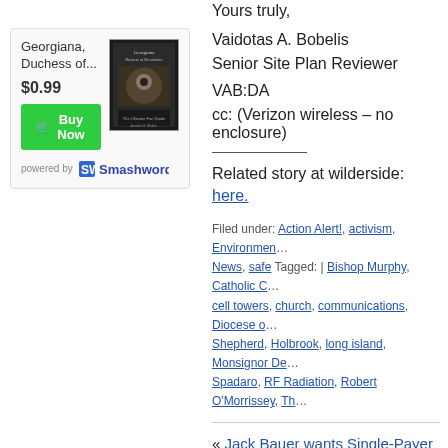[Figure (other): Book widget for 'Georgiana, Duchess of...' priced at $0.99 with Buy Now button, book cover image, powered by Smashwords logo]
Yours truly,
Vaidotas A. Bobelis
Senior Site Plan Reviewer
VAB:DA
cc: (Verizon wireless – no enclosure)
Related story at wilderside: here.
Filed under: Action Alert!, activism, Environmen... News, safe Tagged: | Bishop Murphy, Catholic C... cell towers, church, communications, Diocese o... Shepherd, Holbrook, long island, Monsignor De... Spadaro, RF Radiation, Robert O'Morrissey, Th...
« Jack Bauer wants Single-Payer Uni... Senate candidate is wise beyond his...
Leave a Reply
Your email address will not be published. Requi...